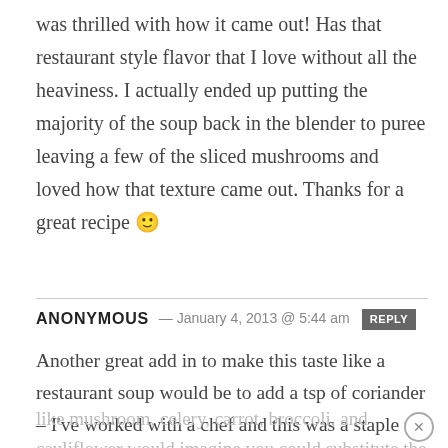was thrilled with how it came out! Has that restaurant style flavor that I love without all the heaviness. I actually ended up putting the majority of the soup back in the blender to puree leaving a few of the sliced mushrooms and loved how that texture came out. Thanks for a great recipe 🙂
ANONYMOUS — January 4, 2013 @ 5:44 am REPLY
Another great add in to make this taste like a restaurant soup would be to add a tsp of coriander – I've worked with a chef and this was a staple to add to cream soups
like mushroom, celery, carrot, broccoli, and cauliflower would imagine you could substitute the different veggies